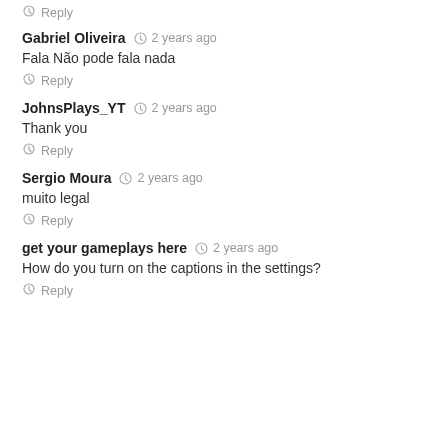Reply
Gabriel Oliveira  2 years ago
Fala Não pode fala nada
Reply
JohnsPlays_YT  2 years ago
Thank you
Reply
Sergio Moura  2 years ago
muito legal
Reply
get your gameplays here  2 years ago
How do you turn on the captions in the settings?
Reply